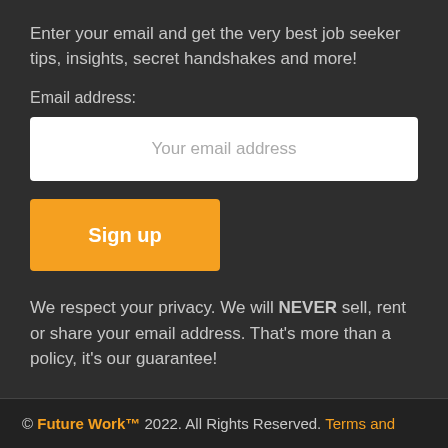Enter your email and get the very best job seeker tips, insights, secret handshakes and more!
Email address:
Your email address
Sign up
We respect your privacy. We will NEVER sell, rent or share your email address. That's more than a policy, it's our guarantee!
© Future Work™ 2022. All Rights Reserved. Terms and